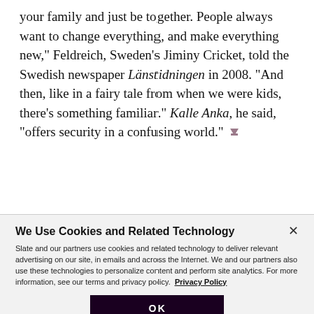your family and just be together. People always want to change everything, and make everything new," Feldreich, Sweden's Jiminy Cricket, told the Swedish newspaper Länstidningen in 2008. "And then, like in a fairy tale from when we were kids, there's something familiar." Kalle Anka, he said, "offers security in a confusing world."
[Figure (infographic): Social sharing bar with Tweet, Share, and Comment buttons]
We Use Cookies and Related Technology — Slate and our partners use cookies and related technology to deliver relevant advertising on our site, in emails and across the Internet. We and our partners also use these technologies to personalize content and perform site analytics. For more information, see our terms and privacy policy. Privacy Policy. OK button.